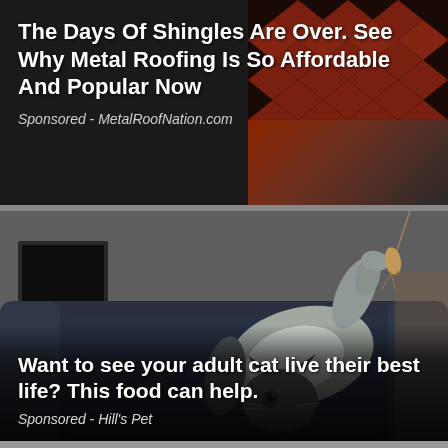[Figure (photo): Advertisement banner with dark background and metal roof tile image in upper right corner]
The Days Of Shingles Are Over. See Why Metal Roofing Is So Affordable And Popular Now
Sponsored - MetalRoofNation.com
[Figure (photo): Cat lying on its back on a dark blue sofa, reaching upward toward a dangling toy with paw raised]
Want to see your adult cat live their best life? This food can help.
Sponsored - Hill's Pet